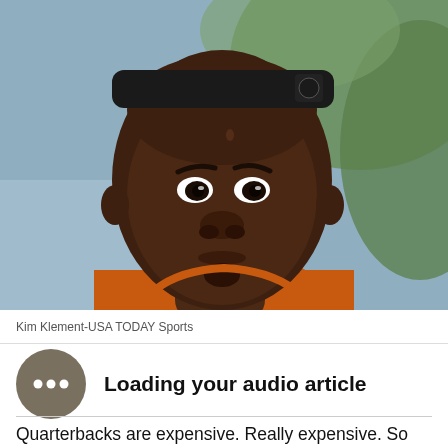[Figure (photo): Close-up photo of a Black male athlete wearing a black headband and orange jersey/clothing, looking upward. Photo credit: Kim Klement-USA TODAY Sports.]
Kim Klement-USA TODAY Sports
[Figure (infographic): Audio article loading indicator: dark gray circle with three dots (ellipsis) inside, representing a loading/buffering audio player.]
Loading your audio article
Quarterbacks are expensive. Really expensive. So expensive that most NFL teams see their roster